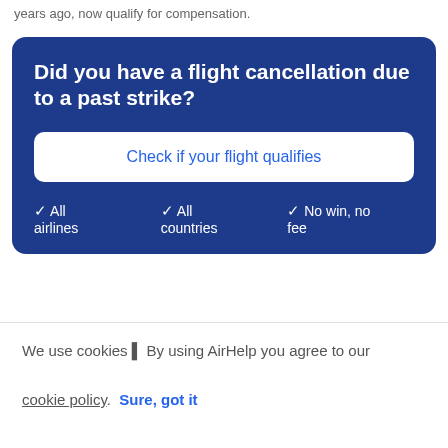years ago, now qualify for compensation.
Did you have a flight cancellation due to a past strike?
Check if your flight qualifies
✓ All airlines
✓ All countries
✓ No win, no fee
We use cookies 🍪 By using AirHelp you agree to our cookie policy.  Sure, got it